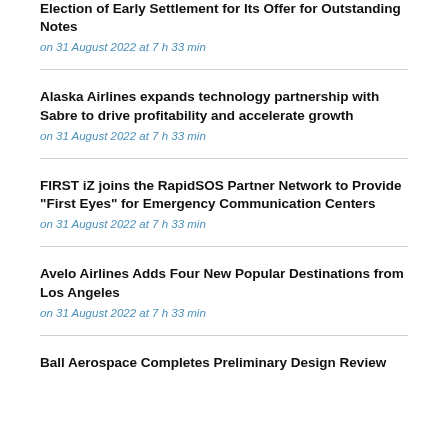Election of Early Settlement for Its Offer for Outstanding Notes
on 31 August 2022 at 7 h 33 min
Alaska Airlines expands technology partnership with Sabre to drive profitability and accelerate growth
on 31 August 2022 at 7 h 33 min
FIRST iZ joins the RapidSOS Partner Network to Provide "First Eyes" for Emergency Communication Centers
on 31 August 2022 at 7 h 33 min
Avelo Airlines Adds Four New Popular Destinations from Los Angeles
on 31 August 2022 at 7 h 33 min
Ball Aerospace Completes Preliminary Design Review